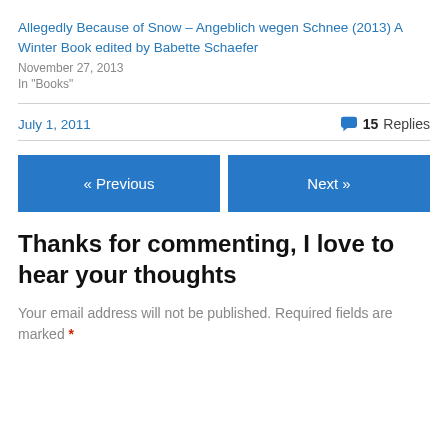Allegedly Because of Snow – Angeblich wegen Schnee (2013) A Winter Book edited by Babette Schaefer
November 27, 2013
In "Books"
July 1, 2011
15 Replies
« Previous
Next »
Thanks for commenting, I love to hear your thoughts
Your email address will not be published. Required fields are marked *